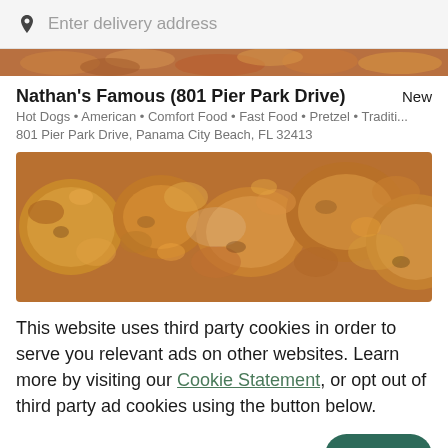[Figure (screenshot): Search bar with location pin icon and 'Enter delivery address' placeholder text on gray background]
[Figure (photo): Partial cropped food image strip at top of restaurant listing]
Nathan's Famous (801 Pier Park Drive)
Hot Dogs • American • Comfort Food • Fast Food • Pretzel • Traditi...
801 Pier Park Drive, Panama City Beach, FL 32413
[Figure (photo): Close-up photo of golden-brown crispy fried chicken pieces on a plate]
This website uses third party cookies in order to serve you relevant ads on other websites. Learn more by visiting our Cookie Statement, or opt out of third party ad cookies using the button below.